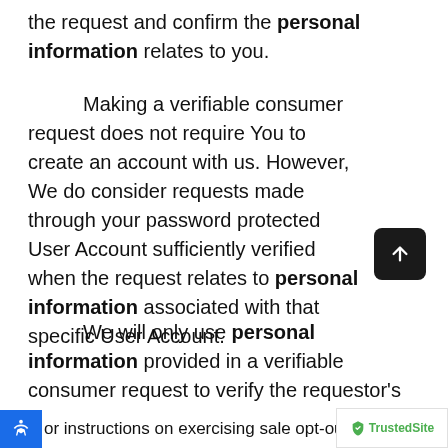the request and confirm the personal information relates to you.
Making a verifiable consumer request does not require You to create an account with us. However, We do consider requests made through your password protected User Account sufficiently verified when the request relates to personal information associated with that specific User Account.
We will only use personal information provided in a verifiable consumer request to verify the requestor's identity or authority to make the request.
or instructions on exercising sale opt-ou